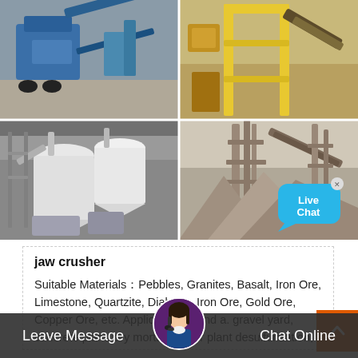[Figure (photo): Four-panel photo grid showing industrial mining/crushing equipment: top-left shows blue conveyor/crusher equipment outdoors, top-right shows yellow industrial machinery structure, bottom-left shows white industrial silos/cyclones inside a building, bottom-right shows aggregate pile with conveyor structure. A 'Live Chat' speech bubble overlay is visible at top-right of the bottom-right panel.]
jaw crusher
Suitable Materials：Pebbles, Granites, Basalt, Iron Ore, Limestone, Quartzite, Diabase, Iron Ore, Gold Ore, Copper Ore, etc. Applications: sand a. gravel yard, concrete plant, dry mortar, power plant desulfurization, quartz sand, etc. 10%
Leave Message   Chat Online